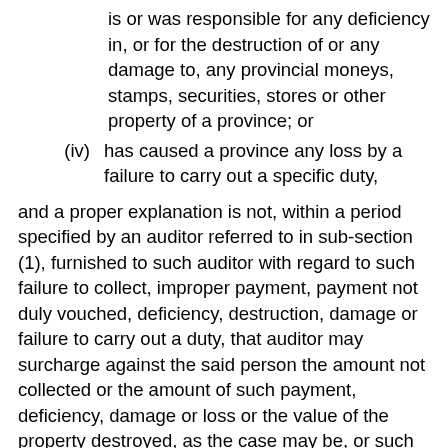is or was responsible for any deficiency in, or for the destruction of or any damage to, any provincial moneys, stamps, securities, stores or other property of a province; or
(iv) has caused a province any loss by a failure to carry out a specific duty,
and a proper explanation is not, within a period specified by an auditor referred to in sub-section (1), furnished to such auditor with regard to such failure to collect, improper payment, payment not duly vouched, deficiency, destruction, damage or failure to carry out a duty, that auditor may surcharge against the said person the amount not collected or the amount of such payment, deficiency, damage or loss or the value of the property destroyed, as the case may be, or such lesser amount or value as he may in the circumstances of the case deem fit, and the amount of any such surcharge shall, subject to the